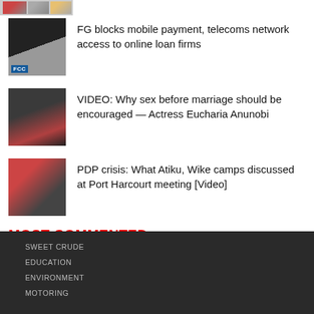[Figure (photo): Partial thumbnail images at top of page]
FG blocks mobile payment, telecoms network access to online loan firms
VIDEO: Why sex before marriage should be encouraged — Actress Eucharia Anunobi
PDP crisis: What Atiku, Wike camps discussed at Port Harcourt meeting [Video]
MOST COMMENTED
SWEET CRUDE
EDUCATION
ENVIRONMENT
MOTORING